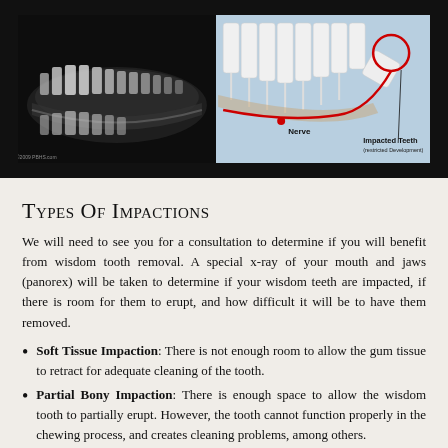[Figure (photo): Left side: dental X-ray (panorex) showing teeth and jaw in black and white. Right side: anatomical illustration on blue background showing teeth cross-section with labeled nerve (red dot) and impacted tooth (circled in red line) with text labels 'Nerve' and 'Impacted Teeth (restricted Development)'.]
Types Of Impactions
We will need to see you for a consultation to determine if you will benefit from wisdom tooth removal. A special x-ray of your mouth and jaws (panorex) will be taken to determine if your wisdom teeth are impacted, if there is room for them to erupt, and how difficult it will be to have them removed.
Soft Tissue Impaction: There is not enough room to allow the gum tissue to retract for adequate cleaning of the tooth.
Partial Bony Impaction: There is enough space to allow the wisdom tooth to partially erupt. However, the tooth cannot function properly in the chewing process, and creates cleaning problems, among others.
Complete Bony Impaction: There is NO space for the tooth to erupt. It remains embedded in the jaw bone or if even partially visible requires complex surgical techniques for